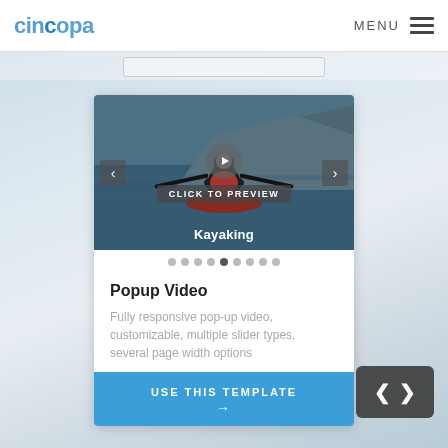cincopa  MENU
[Figure (screenshot): Cincopa website screenshot showing a Popup Video template card with a kayaking video preview, navigation dots, title 'Popup Video', description text, and a 'USE THIS TEMPLATE' button. Includes navigation arrows and a code nav widget.]
Popup Video
Fully responsive pop-up video, customizable, multiple slider types, several page width options
USE THIS TEMPLATE →